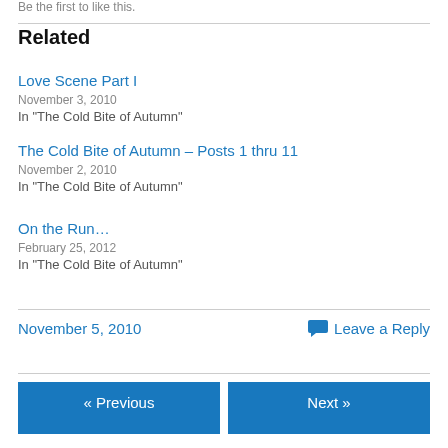Be the first to like this.
Related
Love Scene Part I
November 3, 2010
In "The Cold Bite of Autumn"
The Cold Bite of Autumn – Posts 1 thru 11
November 2, 2010
In "The Cold Bite of Autumn"
On the Run…
February 25, 2012
In "The Cold Bite of Autumn"
November 5, 2010
Leave a Reply
« Previous
Next »